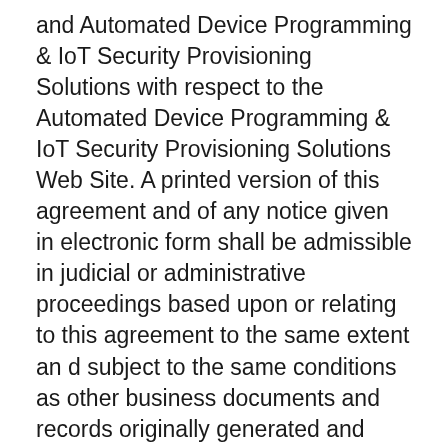and Automated Device Programming & IoT Security Provisioning Solutions with respect to the Automated Device Programming & IoT Security Provisioning Solutions Web Site. A printed version of this agreement and of any notice given in electronic form shall be admissible in judicial or administrative proceedings based upon or relating to this agreement to the same extent an d subject to the same conditions as other business documents and records originally generated and maintained in printed form. It is the express wish to the parties that this agreement and all related documents be drawn up in English.
COPYRIGHT AND TRADEMARK NOTICES: